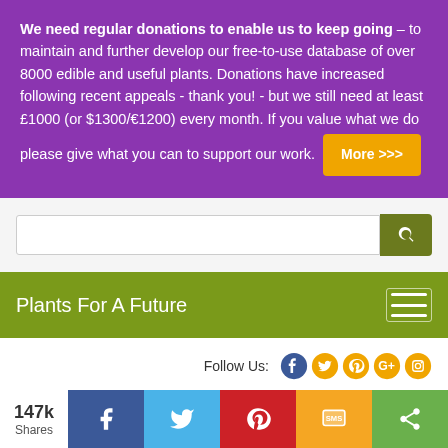We need regular donations to enable us to keep going – to maintain and further develop our free-to-use database of over 8000 edible and useful plants. Donations have increased following recent appeals - thank you! - but we still need at least £1000 (or $1300/€1200) every month. If you value what we do please give what you can to support our work.  More >>>
[Figure (screenshot): Search bar with olive green search button]
Plants For A Future
Follow Us:
147k Shares